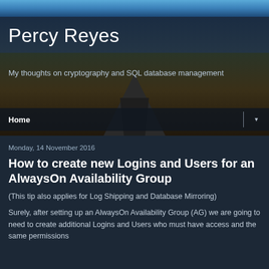Percy Reyes
My thoughts on cryptography and SQL database management
Home
Monday, 14 November 2016
How to create new Logins and Users for an AlwaysOn Availability Group
(This tip also applies for Log Shipping and Database Mirroring)
Surely, after setting up an AlwaysOn Availability Group (AG) we are going to need to create additional Logins and Users who must have access and the same permissions